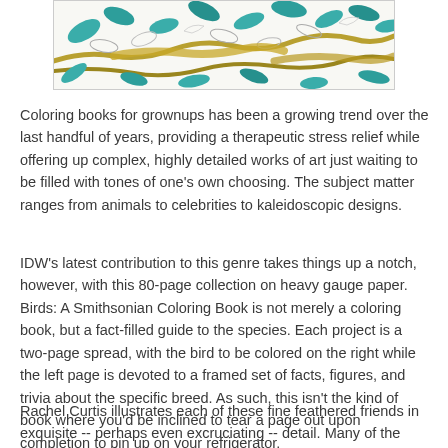[Figure (illustration): A decorative illustration showing colorful birds and leaves — teal/turquoise leaves, golden-brown branch shapes, and outlines of birds — reminiscent of a coloring book page partially colored.]
Coloring books for grownups has been a growing trend over the last handful of years, providing a therapeutic stress relief while offering up complex, highly detailed works of art just waiting to be filled with tones of one's own choosing. The subject matter ranges from animals to celebrities to kaleidoscopic designs.
IDW's latest contribution to this genre takes things up a notch, however, with this 80-page collection on heavy gauge paper. Birds: A Smithsonian Coloring Book is not merely a coloring book, but a fact-filled guide to the species. Each project is a two-page spread, with the bird to be colored on the right while the left page is devoted to a framed set of facts, figures, and trivia about the specific breed. As such, this isn't the kind of book where you'd be inclined to tear a page out upon completion to pin up on your refrigerator.
Rachel Curtis illustrates each of these fine feathered friends in exquisite -- perhaps even excruciating -- detail. Many of the elements are so minutely rendered that it may make the beginner consider a medium more...